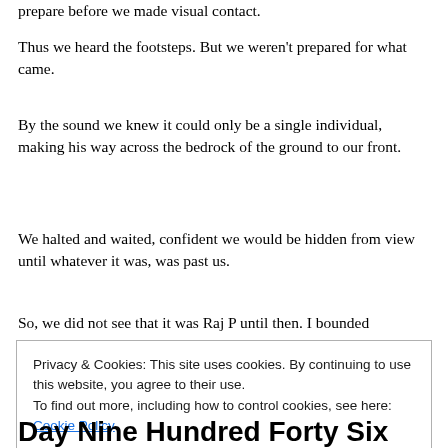prepare before we made visual contact.
Thus we heard the footsteps. But we weren't prepared for what came.
By the sound we knew it could only be a single individual, making his way across the bedrock of the ground to our front.
We halted and waited, confident we would be hidden from view until whatever it was, was past us.
So, we did not see that it was Raj P until then. I bounded
Privacy & Cookies: This site uses cookies. By continuing to use this website, you agree to their use.
To find out more, including how to control cookies, see here: Cookie Policy
[Close and accept]
Day Nine Hundred Forty Six